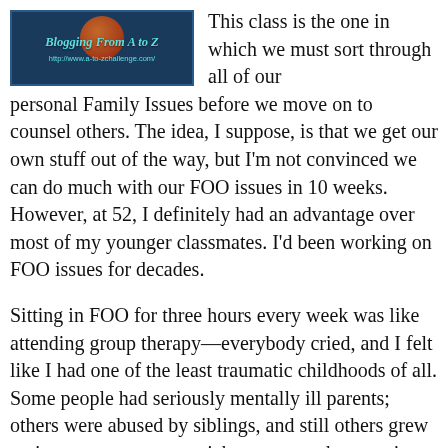[Figure (logo): Blogging From A to Z challenge logo with teal text on dark blue background and decorative circular element. URL: http://www.a-to-zchallenge.com/]
This class is the one in which we must sort through all of our personal Family Issues before we move on to counsel others. The idea, I suppose, is that we get our own stuff out of the way, but I'm not convinced we can do much with our FOO issues in 10 weeks. However, at 52, I definitely had an advantage over most of my younger classmates. I'd been working on FOO issues for decades.
Sitting in FOO for three hours every week was like attending group therapy—everybody cried, and I felt like I had one of the least traumatic childhoods of all. Some people had seriously mentally ill parents; others were abused by siblings, and still others grew up in remote, poverty stricken areas and no services for hundreds of miles. My heart ached for many of my classmates who still struggled mightily with their